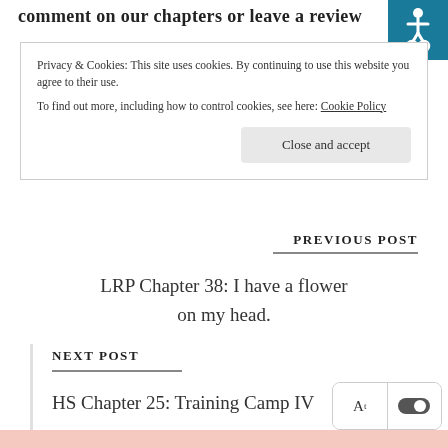comment on our chapters or leave a review
[Figure (illustration): Accessibility icon - white wheelchair symbol on teal/dark blue background, top right corner]
Privacy & Cookies: This site uses cookies. By continuing to use this website you agree to their use.
To find out more, including how to control cookies, see here: Cookie Policy
Close and accept
PREVIOUS POST
LRP Chapter 38: I have a flower on my head.
NEXT POST
HS Chapter 25: Training Camp IV